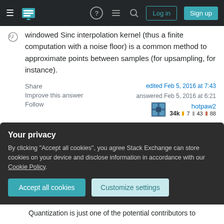Stack Exchange navigation bar with hamburger menu, logo, help, chat, search, Log in, Sign up buttons
windowed Sinc interpolation kernel (thus a finite computation with a noise floor) is a common method to approximate points between samples (for upsampling, for instance).
Share
Improve this answer
Follow
edited Feb 5, 2016 at 7:43
answered Feb 5, 2016 at 6:21
hotpaw2
34k  7  43  88
Your privacy
By clicking "Accept all cookies", you agree Stack Exchange can store cookies on your device and disclose information in accordance with our Cookie Policy.
Accept all cookies   Customize settings
Quantization is just one of the potential contributors to